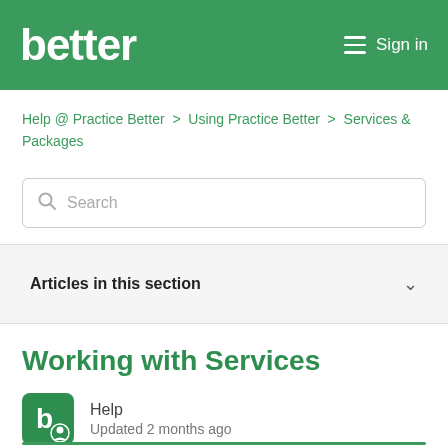better  ≡  Sign in
Help @ Practice Better > Using Practice Better > Services & Packages
Search
Articles in this section
Working with Services
Help
Updated 2 months ago